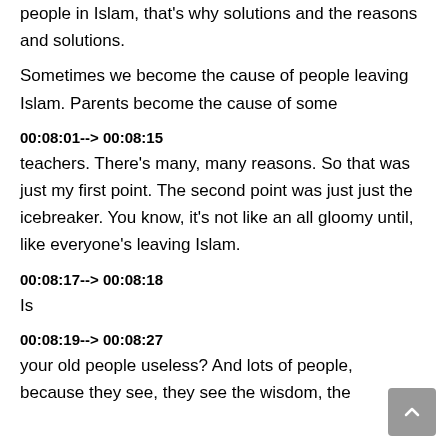people in Islam, that's why solutions and the reasons and solutions.
Sometimes we become the cause of people leaving Islam. Parents become the cause of some
00:08:01--> 00:08:15
teachers. There's many, many reasons. So that was just my first point. The second point was just just the icebreaker. You know, it's not like an all gloomy until, like everyone's leaving Islam.
00:08:17--> 00:08:18
Is
00:08:19--> 00:08:27
your old people useless? And lots of people, because they see, they see the wisdom, the